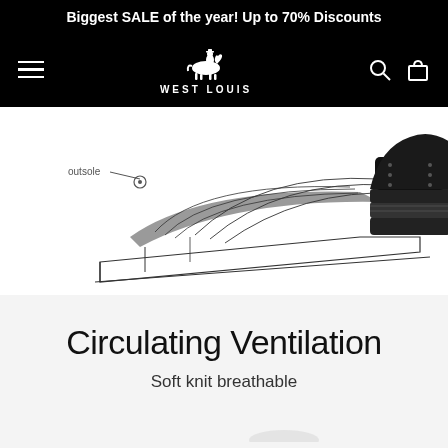Biggest SALE of the year! Up to 70% Discounts
[Figure (logo): West Louis brand logo with horseman icon and navigation bar on black background]
[Figure (illustration): Partial product illustration showing shoe cross-section diagram with outsole label and knit upper, with black sneaker sole visible on right]
Circulating Ventilation
Soft knit breathable
[Figure (photo): Partial bottom image of shoe product]